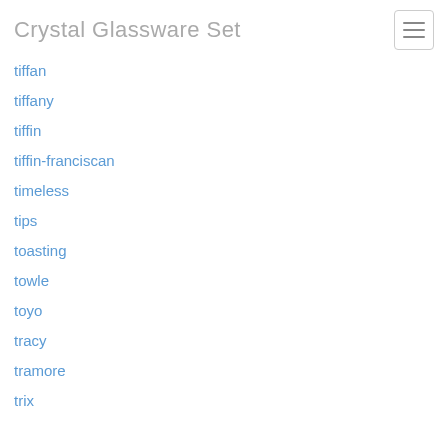Crystal Glassware Set
tiffan
tiffany
tiffin
tiffin-franciscan
timeless
tips
toasting
towle
toyo
tracy
tramore
trix